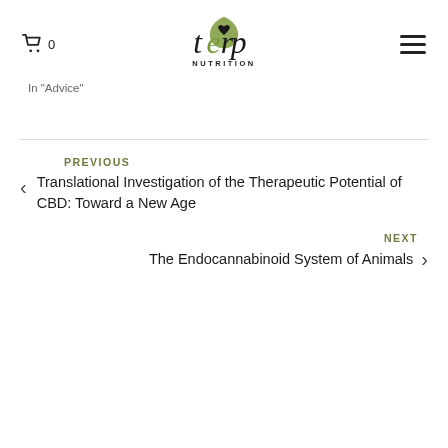[Figure (logo): Terp Nutrition logo with stylized green leaf and heart design above the text NUTRITION]
In "Advice"
PREVIOUS
Translational Investigation of the Therapeutic Potential of CBD: Toward a New Age
NEXT
The Endocannabinoid System of Animals